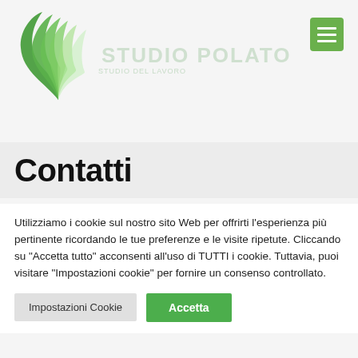[Figure (logo): Studio Polato logo with green wing/feather graphic on the left and text 'STUDIO POLATO' in light green on the right, with a subtitle below]
[Figure (other): Green hamburger menu icon button in top right corner]
Contatti
Utilizziamo i cookie sul nostro sito Web per offrirti l'esperienza più pertinente ricordando le tue preferenze e le visite ripetute. Cliccando su "Accetta tutto" acconsenti all'uso di TUTTI i cookie. Tuttavia, puoi visitare "Impostazioni cookie" per fornire un consenso controllato.
Impostazioni Cookie   Accetta